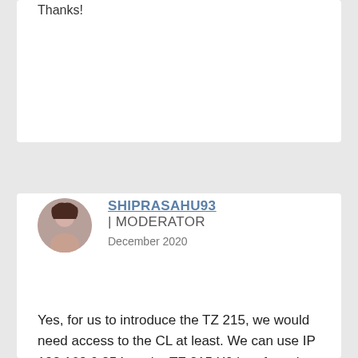Thanks!
SHIPRASAHU93 | MODERATOR
December 2020
Yes, for us to introduce the TZ 215, we would need access to the CL at least. We can use IP 192.168.0.254 on the TZ 215 X0 interface, but the connection to CL on X1 as well the connection to TZ 400 needs to be on a separate network.

Thanks!